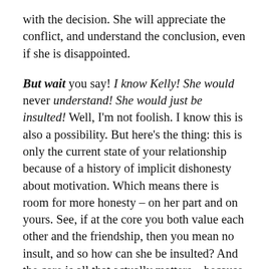with the decision. She will appreciate the conflict, and understand the conclusion, even if she is disappointed.
But wait you say! I know Kelly! She would never understand! She would just be insulted! Well, I'm not foolish. I know this is also a possibility. But here's the thing: this is only the current state of your relationship because of a history of implicit dishonesty about motivation. Which means there is room for more honesty – on her part and on yours. See, if at the core you both value each other and the friendship, then you mean no insult, and so how can she be insulted? And the core is all that actually matters – because it is impossible that either of you wants the other to be upset. That core